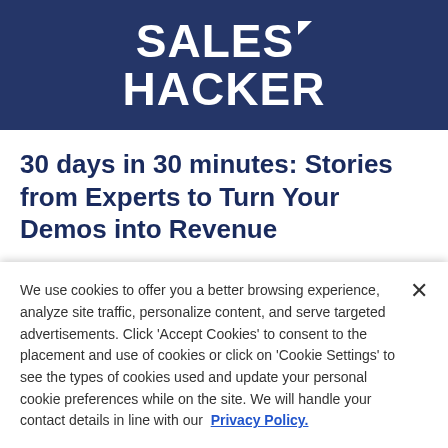[Figure (logo): Sales Hacker logo — white bold text on dark navy blue background with a small arrow/checkmark graphic]
30 days in 30 minutes: Stories from Experts to Turn Your Demos into Revenue
ON DEMAND REPLAY
Fresh off his West Coast Storytelling Tour, Nick
We use cookies to offer you a better browsing experience, analyze site traffic, personalize content, and serve targeted advertisements. Click 'Accept Cookies' to consent to the placement and use of cookies or click on 'Cookie Settings' to see the types of cookies used and update your personal cookie preferences while on the site. We will handle your contact details in line with our  Privacy Policy.